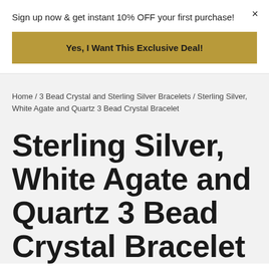Sign up now & get instant 10% OFF your first purchase!
Yes, I Want This Exclusive Deal!
×
Home / 3 Bead Crystal and Sterling Silver Bracelets / Sterling Silver, White Agate and Quartz 3 Bead Crystal Bracelet
Sterling Silver, White Agate and Quartz 3 Bead Crystal Bracelet